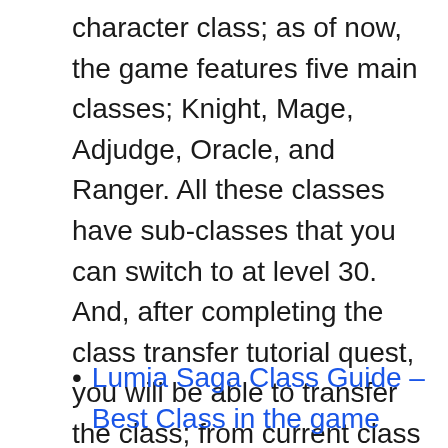character class; as of now, the game features five main classes; Knight, Mage, Adjudge, Oracle, and Ranger. All these classes have sub-classes that you can switch to at level 30. And, after completing the class transfer tutorial quest, you will be able to transfer the class; from current class to another class. It would be free before level 50. After level 50, you will need a class change voucher. For more information on the class, we would recommend checking this guide: –
Lumia Saga Class Guide – Best Class in the game